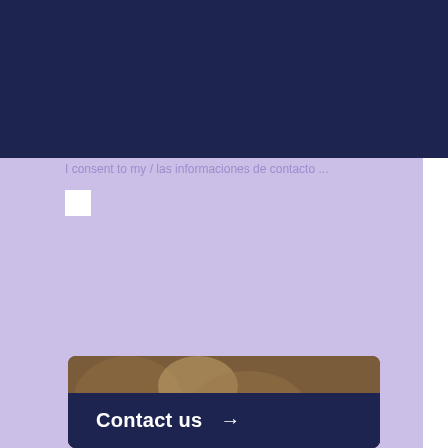[Figure (logo): How To Buy A. House logo with house icon in white on dark navy background]
[Figure (screenshot): Hamburger menu button in purple on right side of navigation bar]
Send
[Figure (photo): Partial image of food/stones with Contact us overlay and arrow]
Contact us →